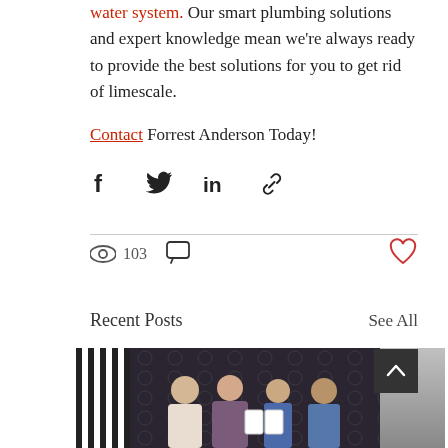water system. Our smart plumbing solutions and expert knowledge mean we're always ready to provide the best solutions for you to get rid of limescale.
Contact Forrest Anderson Today!
[Figure (infographic): Social sharing icons: Facebook, Twitter, LinkedIn, link/chain icon]
103 views, comment icon, heart/like icon
Recent Posts
See All
[Figure (photo): Three thumbnail photos: left shows striped fabric/clothing, center shows group of four people posing in front of a branded backdrop holding plaques/awards, right shows a silver/metallic surface]